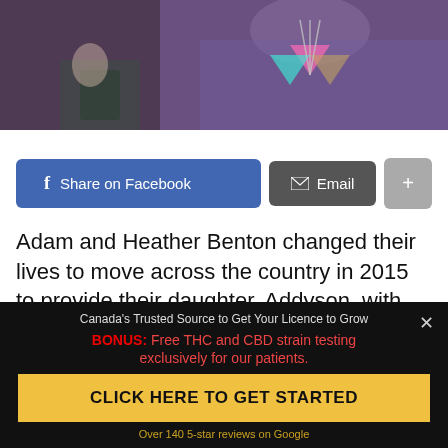[Figure (photo): Partial photo showing a person wearing a purple/lavender top with decorative necklace design, dark background]
Share on Facebook | Email | +
Adam and Heather Benton changed their lives to move across the country in 2015 to provide their daughter, Addyson, with medical marijuana for her myoclonic seizures. From West Chester, Ohio to Castle Rock, Colorado, the Bentons were. able to provide their 3-year-old with cannabis medications
Canada's Trusted Source to Get Your Licence to Grow
BONUS: Free THC and CBD strain testing exclusively for our patients.
CLICK HERE TO GET STARTED
Over 140 5-star reviews on Google